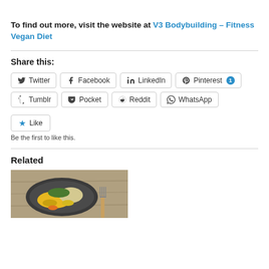To find out more, visit the website at V3 Bodybuilding – Fitness Vegan Diet
Share this:
[Figure (infographic): Social share buttons: Twitter, Facebook, LinkedIn, Pinterest (1), Tumblr, Pocket, Reddit, WhatsApp]
[Figure (infographic): Like button with star icon, followed by text: Be the first to like this.]
Related
[Figure (photo): Photo of a bowl of food with corn, grains, and greens, with a wooden fork on a wooden table surface.]